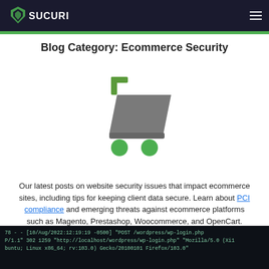SUCURI
Blog Category: Ecommerce Security
[Figure (illustration): A shopping cart icon with green handle and wheels on a white background]
Our latest posts on website security issues that impact ecommerce sites, including tips for keeping client data secure. Learn about PCI compliance and emerging threats against ecommerce platforms such as Magento, Prestashop, Woocommerce, and OpenCart.
[Figure (screenshot): Terminal/log output showing HTTP access log entries including POST /wordpress/wp-login.php requests with Mozilla/5.0 Firefox user agent on Linux x86_64]